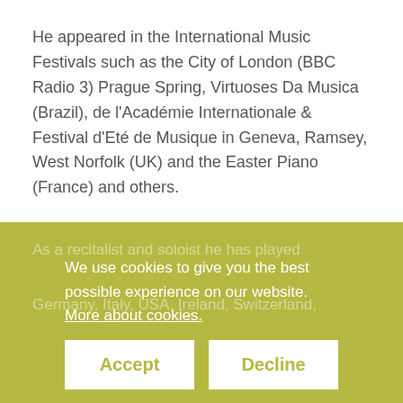He appeared in the International Music Festivals such as the City of London (BBC Radio 3) Prague Spring, Virtuoses Da Musica (Brazil), de l'Académie Internationale & Festival d'Eté de Musique in Geneva, Ramsey, West Norfolk (UK) and the Easter Piano (France) and others.
As a recitalist and soloist he has played We use cookies to give you the best possible experience on our website. More about cookies. Germany, Italy, USA, Ireland, Switzerland, Africa.
Evgeny has made numerous recordings for